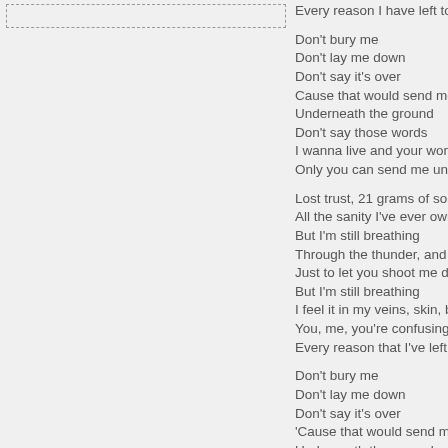[Figure (other): Dashed rectangle outline in left panel, likely a placeholder for an image or video]
Every reason I have left to live

Don't bury me
Don't lay me down
Don't say it's over
Cause that would send me und
Underneath the ground
Don't say those words
I wanna live and your words c
Only you can send me under,

Lost trust, 21 grams of soul
All the sanity I've ever owned
But I'm still breathing
Through the thunder, and the f
Just to let you shoot me down
But I'm still breathing
I feel it in my veins, skin, bon
You, me, you're confusing
Every reason that I've left to li

Don't bury me
Don't lay me down
Don't say it's over
'Cause that would send me un
Underneath the ground
Don't say those words
I wanna live but your words c
Only you can send me under,

Chasing you but you don't loo
Words I threw that I can't take